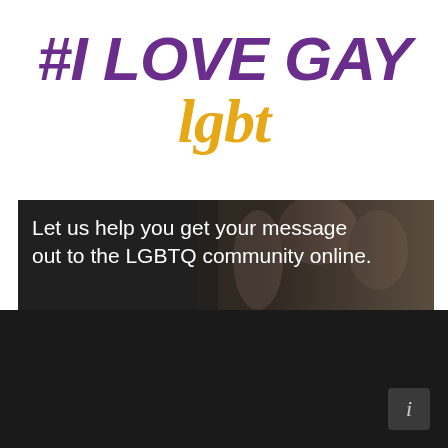#I LOVE GAY lgbt
[Figure (photo): Banner image with people in background and white text overlay reading: Let us help you get your message out to the LGBTQ community online.]
[Figure (other): Dark footer section with a dark gray rounded square info button in bottom right corner]